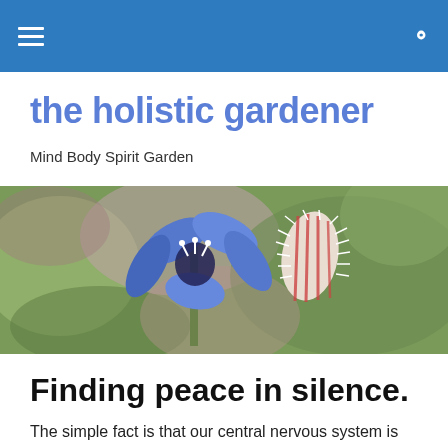the holistic gardener — navigation bar
the holistic gardener
Mind Body Spirit Garden
[Figure (photo): Close-up photograph of a borage flower with vivid blue petals and fuzzy red-striped buds, on a blurred green background.]
Finding peace in silence.
The simple fact is that our central nervous system is hardwired to respond to sound, in part as an early warning defence mechanism (listening for danger cues) and in part as a way of reading the landscape and finding surety and